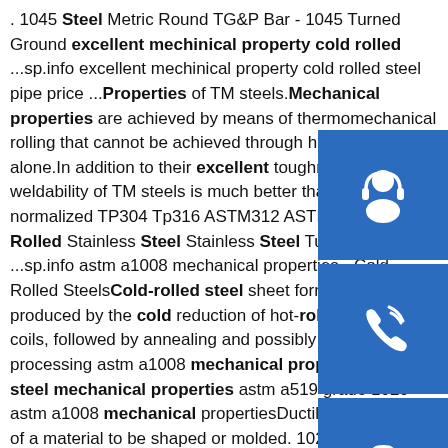. 1045 Steel Metric Round TG&P Bar - 1045 Turned Ground excellent mechinical property cold rolled ...sp.info excellent mechinical property cold rolled steel pipe price ...Properties of TM steels.Mechanical properties are achieved by means of thermomechanical rolling that cannot be achieved through heat treatment alone.In addition to their excellent toughness,the weldability of TM steels is much better than that of normalized TP304 Tp316 ASTM312 ASTM213 Cold Rolled Stainless Steel Stainless Steel Tube,Sanitary ...sp.info astm a1008 mechanical properties - Cold Rolled SteelsCold-rolled steel sheet forming is produced by the cold reduction of hot-rolled pickled coils, followed by annealing and possibly additional processing astm a1008 mechanical properties gl eq51 steel mechanical properties astm a519 grade 1020 astm a1008 mechanical propertiesDuctility is the ability of a material to be shaped or molded. 1020 ...sp.info Offer Sae 1018 Cold Drawn Steel Properties. List of Sae ...Sae 1018 Cold
[Figure (infographic): Three blue square icons stacked vertically on the right side: a customer support/headset icon, a phone/call icon, and a Skype icon]